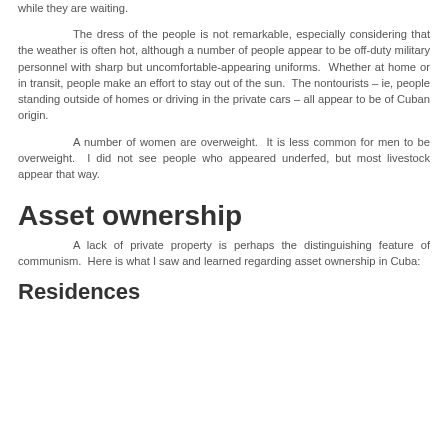while they are waiting.
The dress of the people is not remarkable, especially considering that the weather is often hot, although a number of people appear to be off-duty military personnel with sharp but uncomfortable-appearing uniforms. Whether at home or in transit, people make an effort to stay out of the sun. The nontourists – ie, people standing outside of homes or driving in the private cars – all appear to be of Cuban origin.
A number of women are overweight. It is less common for men to be overweight. I did not see people who appeared underfed, but most livestock appear that way.
Asset ownership
A lack of private property is perhaps the distinguishing feature of communism. Here is what I saw and learned regarding asset ownership in Cuba:
Residences